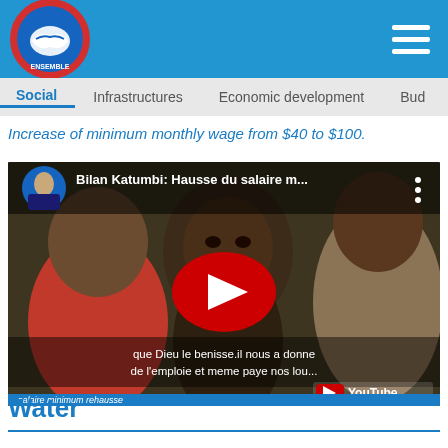ENSEMBLE - Social | Infrastructures | Economic development | Budget
Increase of minimum monthly wage from $40 to $100.
[Figure (screenshot): YouTube video thumbnail: Bilan Katumbi: Hausse du salaire m... - showing a man speaking with subtitle text 'que Dieu le benisse.il nous a donne de l'emploie et meme paye nos lou...' and YouTube logo bottom right. Video title bar at bottom reads 'salaire minimum rehausse']
Water